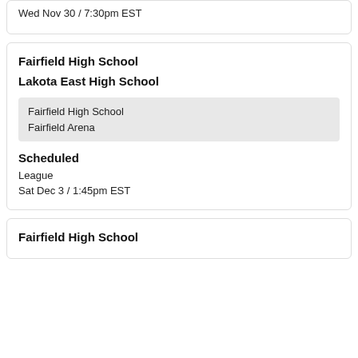Wed Nov 30 / 7:30pm EST
Fairfield High School
Lakota East High School
Fairfield High School
Fairfield Arena
Scheduled
League
Sat Dec 3 / 1:45pm EST
Fairfield High School